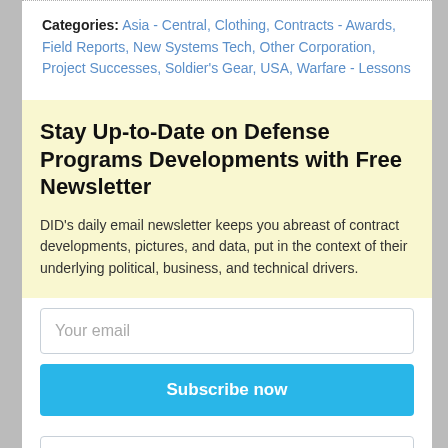Categories: Asia - Central, Clothing, Contracts - Awards, Field Reports, New Systems Tech, Other Corporation, Project Successes, Soldier's Gear, USA, Warfare - Lessons
Stay Up-to-Date on Defense Programs Developments with Free Newsletter
DID's daily email newsletter keeps you abreast of contract developments, pictures, and data, put in the context of their underlying political, business, and technical drivers.
Your email
Subscribe now
Archives